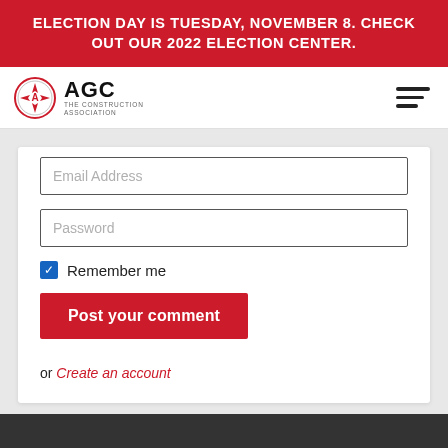ELECTION DAY IS TUESDAY, NOVEMBER 8. CHECK OUT OUR 2022 ELECTION CENTER.
[Figure (logo): AGC The Construction Association logo with circular emblem]
Email Address
Password
Remember me
Post your comment
or Create an account